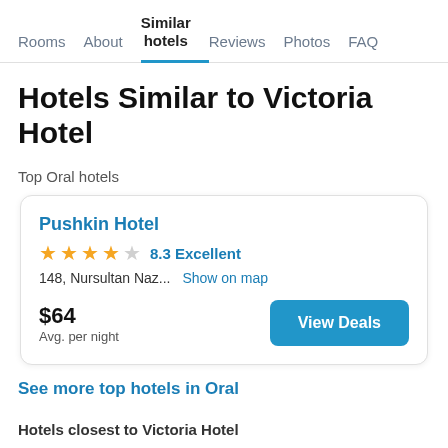Rooms   About   Similar hotels   Reviews   Photos   FAQ
Hotels Similar to Victoria Hotel
Top Oral hotels
Pushkin Hotel — 8.3 Excellent — 148, Nursultan Naz... Show on map — $64 Avg. per night — View Deals
See more top hotels in Oral
Hotels closest to Victoria Hotel